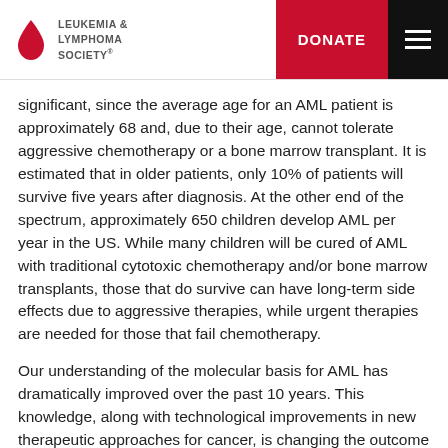Leukemia & Lymphoma Society — DONATE
significant, since the average age for an AML patient is approximately 68 and, due to their age, cannot tolerate aggressive chemotherapy or a bone marrow transplant. It is estimated that in older patients, only 10% of patients will survive five years after diagnosis. At the other end of the spectrum, approximately 650 children develop AML per year in the US. While many children will be cured of AML with traditional cytotoxic chemotherapy and/or bone marrow transplants, those that do survive can have long-term side effects due to aggressive therapies, while urgent therapies are needed for those that fail chemotherapy.
Our understanding of the molecular basis for AML has dramatically improved over the past 10 years. This knowledge, along with technological improvements in new therapeutic approaches for cancer, is changing the outcome for patients. In fact, after a forty year drought of